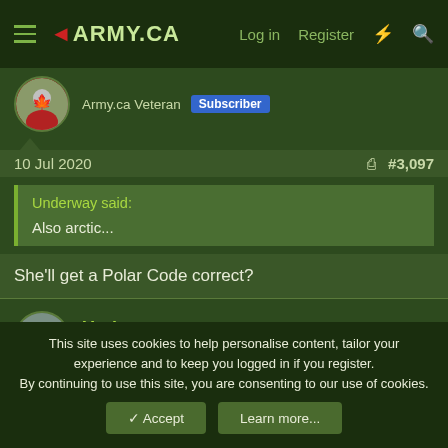ARMY.CA — Log in  Register
Army.ca Veteran  Subscriber
10 Jul 2020  #3,097
Underway said:
Also arctic...
She'll get a Polar Code correct?
Underway
Army.ca Veteran  Donor
10 Jul 2020  #3,098
This site uses cookies to help personalise content, tailor your experience and to keep you logged in if you register.
By continuing to use this site, you are consenting to our use of cookies.